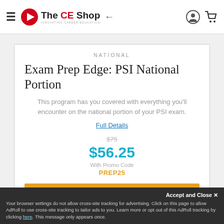The CE Shop — Navigation header with hamburger menu, logo, user icon, and cart icon
NATIONAL
Exam Prep Edge: PSI National Portion
This program has you covered with everything you'll encounter on the national portion of your PSI exam.
Full Details
$75
$56.25
With Promo Code
PREP25
ADD TO CART »
Accept and Close ✕
Your browser settings do not allow cross-site tracking for advertising. Click on this page to allow AdRoll to use cross-site tracking to tailor ads to you. Learn more or opt out of this AdRoll tracking by clicking here. This message only appears once.
Exam Prep Edge: OR Broker State